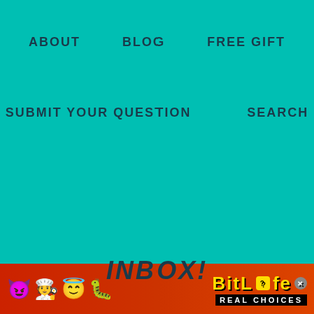ABOUT   BLOG   FREE GIFT
SUBMIT YOUR QUESTION   SEARCH
INBOX!
[Figure (screenshot): Web form with First Name and E-Mail input fields and a GET IT submit button on a light blue background]
[Figure (other): BitLife Real Choices advertisement banner with emojis and yellow text on red background]